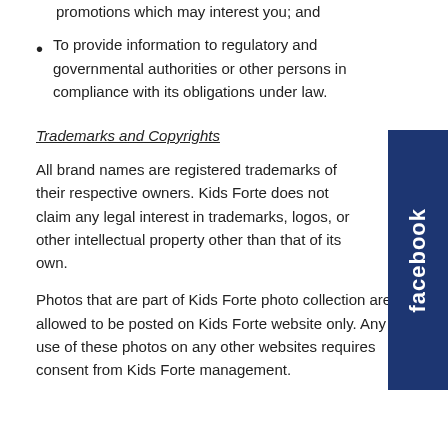promotions which may interest you; and
To provide information to regulatory and governmental authorities or other persons in compliance with its obligations under law.
Trademarks and Copyrights
All brand names are registered trademarks of their respective owners. Kids Forte does not claim any legal interest in trademarks, logos, or other intellectual property other than that of its own.
Photos that are part of Kids Forte photo collection are allowed to be posted on Kids Forte website only. Any use of these photos on any other websites requires consent from Kids Forte management.
[Figure (logo): Facebook logo sidebar button, dark navy blue vertical banner with white 'facebook' text rotated vertically]